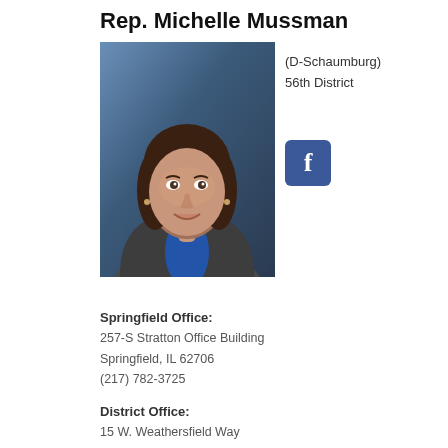Rep. Michelle Mussman
[Figure (photo): Portrait photo of Rep. Michelle Mussman, a woman with dark hair, wearing a blue blouse and gray jacket, smiling, against a blue background]
(D-Schaumburg)
56th District
[Figure (logo): Facebook icon button - blue rounded square with white 'f' letter]
Springfield Office:
257-S Stratton Office Building
Springfield, IL 62706
(217) 782-3725
District Office:
15 W. Weathersfield Way
Schaumburg, IL 60192